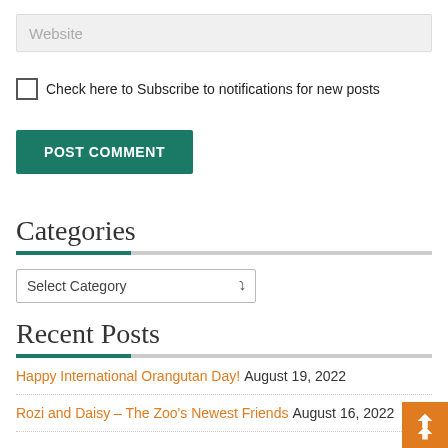Website
Check here to Subscribe to notifications for new posts
POST COMMENT
Categories
Select Category
Recent Posts
Happy International Orangutan Day! August 19, 2022
Rozi and Daisy – The Zoo's Newest Friends August 16, 2022